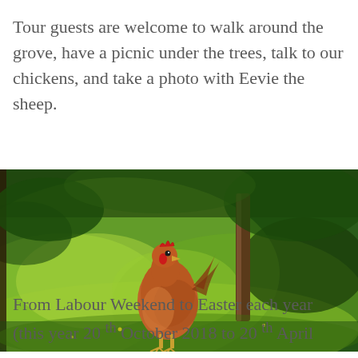Tour guests are welcome to walk around the grove, have a picnic under the trees, talk to our chickens, and take a photo with Eevie the sheep.
[Figure (photo): A brown/red chicken (rooster) standing on lush green grass in an orchard grove, with a tree trunk visible in the background. The photo is wide-format landscape orientation.]
From Labour Weekend to Easter each year (this year 20 th October 2018 to 20 th April